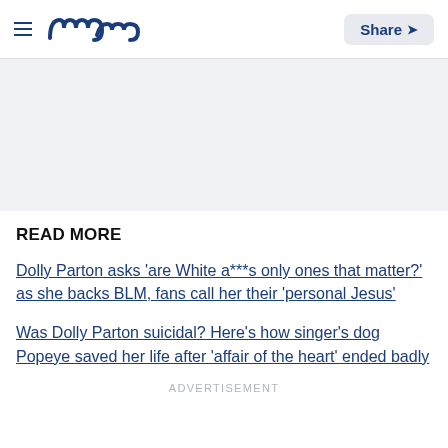Meaww | Share
[Figure (other): Advertisement/banner placeholder area (light gray background)]
READ MORE
Dolly Parton asks 'are White a***s only ones that matter?' as she backs BLM, fans call her their 'personal Jesus'
Was Dolly Parton suicidal? Here's how singer's dog Popeye saved her life after 'affair of the heart' ended badly
ADVERTISEMENT